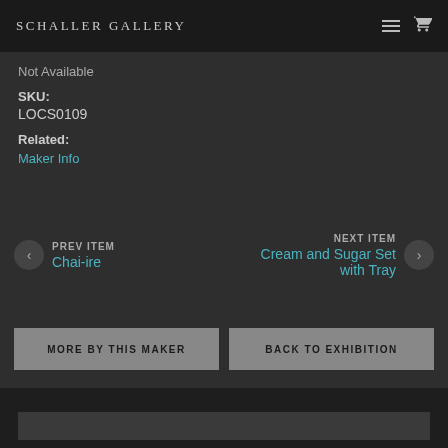SCHALLER GALLERY
Not Available
SKU:
LOCS0109
Related:
Maker Info
PREV ITEM
Chai-ire
NEXT ITEM
Cream and Sugar Set with Tray
MORE BY THIS MAKER
BACK TO EXHIBITION